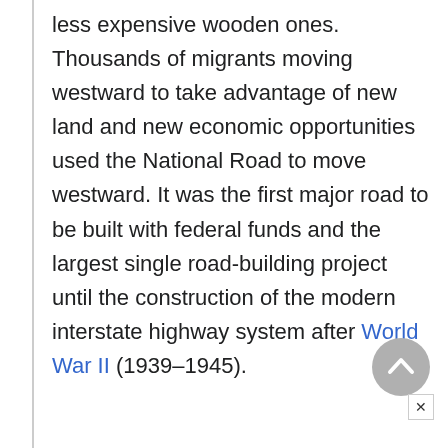less expensive wooden ones. Thousands of migrants moving westward to take advantage of new land and new economic opportunities used the National Road to move westward. It was the first major road to be built with federal funds and the largest single road-building project until the construction of the modern interstate highway system after World War II (1939–1945).